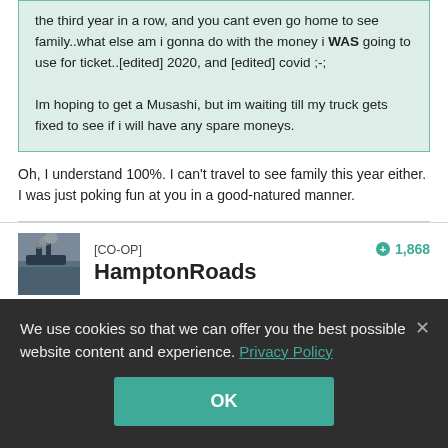the third year in a row, and you cant even go home to see family..what else am i gonna do with the money i WAS going to use for ticket..[edited] 2020, and [edited] covid ;-;

Im hoping to get a Musashi, but im waiting till my truck gets fixed to see if i will have any spare moneys.
Oh, I understand 100%. I can't travel to see family this year either. I was just poking fun at you in a good-natured manner.
[CO-OP]
HamptonRoads
+1,868
We use cookies so that we can offer you the best possible website content and experience. Privacy Policy
OK